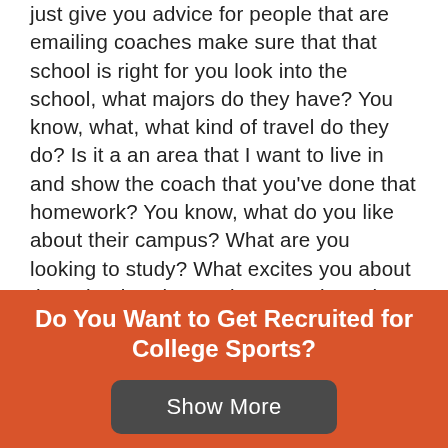just give you advice for people that are emailing coaches make sure that that school is right for you look into the school, what majors do they have? You know, what, what kind of travel do they do? Is it a an area that I want to live in and show the coach that you've done that homework? You know, what do you like about their campus? What are you looking to study? What excites you about the school? What excites you about the style of play that that coach might be playing? And those are things that sometimes people forget to look into. You know, if you're a possession minded player, you want to find a program that plays possession soccer, however, if you want to go into say, business, you need to see what that school's business program looks like. Show the
Do You Want to Get Recruited for College Sports?
Show More